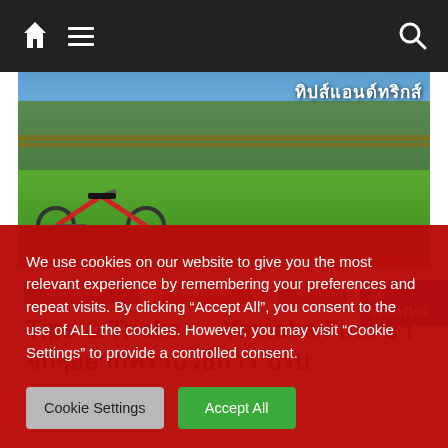Navigation bar with home, menu, and search icons
[Figure (photo): Hero image showing motorcycles/bikes on green grass with Thai text overlay]
CUSTOM BIKES
HIGHLIGHT
Yamaha
Thai text tag
Tips & Tricks  Yamaha Finn [Thai text]
We use cookies on our website to give you the most relevant experience by remembering your preferences and repeat visits. By clicking “Accept All”, you consent to the use of ALL the cookies. However, you may visit "Cookie Settings" to provide a controlled consent.
Cookie Settings  Accept All